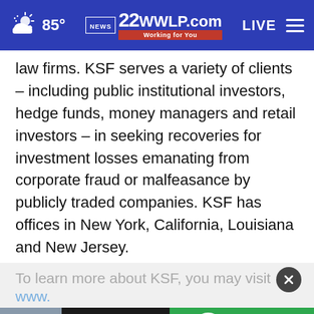[Figure (screenshot): WWWLP.com news website navigation bar with weather icon showing 85°, 22WWLP.com logo with 'Working for You' tagline, LIVE label and hamburger menu]
law firms. KSF serves a variety of clients – including public institutional investors, hedge funds, money managers and retail investors – in seeking recoveries for investment losses emanating from corporate fraud or malfeasance by publicly traded companies. KSF has offices in New York, California, Louisiana and New Jersey.
To learn more about KSF, you may visit
www.
[Figure (screenshot): Advertisement banner: 'Your next step begins here!' with GCC logo and 'CLICK FOR MORE >>' button on green background]